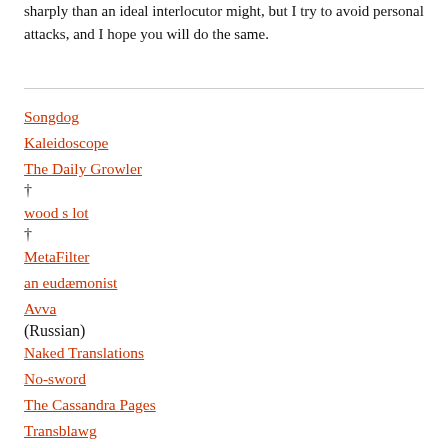sharply than an ideal interlocutor might, but I try to avoid personal attacks, and I hope you will do the same.
Songdog
Kaleidoscope
The Daily Growler †
wood s lot †
MetaFilter
an eudæmonist
Avva (Russian)
Naked Translations
No-sword
The Cassandra Pages
Transblawg
Epigrues
Far Outliers
paperpools
Lizok's Bookshelf
A Bad Guide †